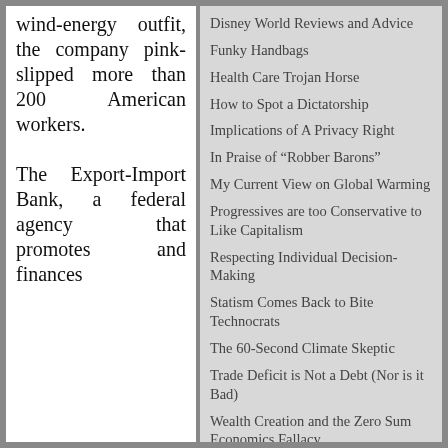wind-energy outfit, the company pink-slipped more than 200 American workers.

The Export-Import Bank, a federal agency that promotes and finances
Disney World Reviews and Advice
Funky Handbags
Health Care Trojan Horse
How to Spot a Dictatorship
Implications of A Privacy Right
In Praise of “Robber Barons”
My Current View on Global Warming
Progressives are too Conservative to Like Capitalism
Respecting Individual Decision-Making
Statism Comes Back to Bite Technocrats
The 60-Second Climate Skeptic
Trade Deficit is Not a Debt (Nor is it Bad)
Wealth Creation and the Zero Sum Economics Fallacy
Why the Right to Vote is Not What Made America Great
BUSINESS &